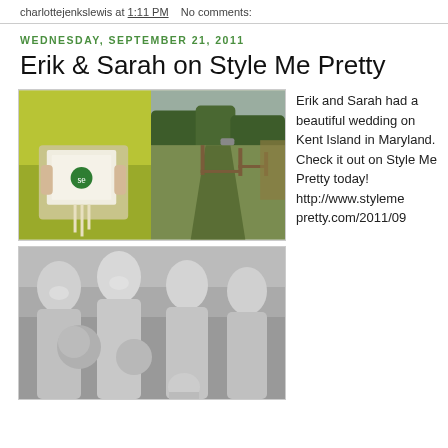charlottejenkslewis at 1:11 PM   No comments:
Wednesday, September 21, 2011
Erik & Sarah on Style Me Pretty
[Figure (photo): Two wedding photos side by side: left shows bridesmaid in yellow-green dress holding monogrammed card, right shows a rustic fence path through green landscape]
[Figure (photo): Black and white photo of bridesmaids laughing and holding bouquets]
Erik and Sarah had a beautiful wedding on Kent Island in Maryland. Check it out on Style Me Pretty today! http://www.stylemepretty.com/2011/09